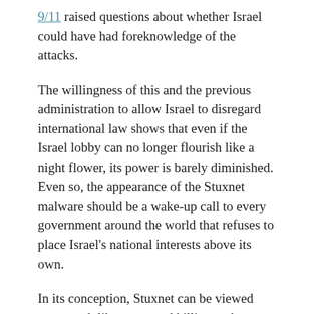9/11 raised questions about whether Israel could have had foreknowledge of the attacks.
The willingness of this and the previous administration to allow Israel to disregard international law shows that even if the Israel lobby can no longer flourish like a night flower, its power is barely diminished. Even so, the appearance of the Stuxnet malware should be a wake-up call to every government around the world that refuses to place Israel's national interests above its own.
In its conception, Stuxnet can be viewed very much like a targeted killing — but one designed to attack silently and leave no trace of its origin.
It's creators understood that they had designed an exceedingly dangerous weapon and so they made sure its damage could be contained. But it seems not to have worked according to plan and so caution got tossed out of the